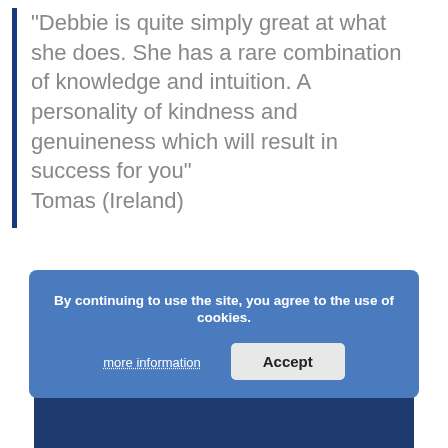"Debbie is quite simply great at what she does. She has a rare combination of knowledge and intuition.  A personality of kindness and genuineness which will result in success for you" Tomas (Ireland)
[Figure (other): Dark blue banner/footer section at bottom of page]
By continuing to use the site, you agree to the use of cookies.
more information   Accept